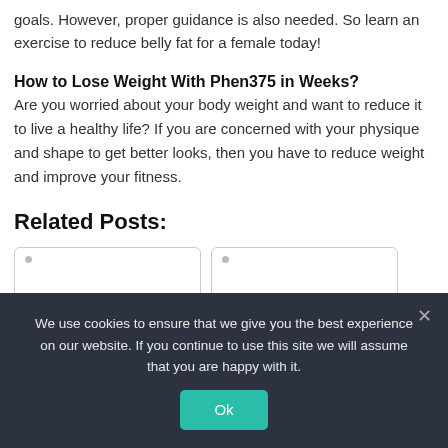goals. However, proper guidance is also needed. So learn an exercise to reduce belly fat for a female today!
How to Lose Weight With Phen375 in Weeks?
Are you worried about your body weight and want to reduce it to live a healthy life? If you are concerned with your physique and shape to get better looks, then you have to reduce weight and improve your fitness.
Related Posts:
[Figure (other): Two related post card placeholders side by side with rounded borders]
We use cookies to ensure that we give you the best experience on our website. If you continue to use this site we will assume that you are happy with it.